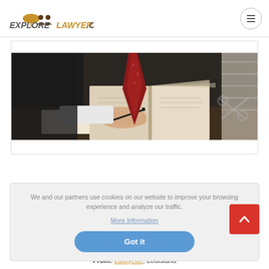EXPLORE LAWYERS.COM
[Figure (photo): A lawyer in a dark suit with a red tie reviewing an open book at a desk with papers and scissors]
We and our partners use cookies on our website to improve your browsing experience and analyze our traffic.
More Information
Got it
From: Lafayette, Louisiana